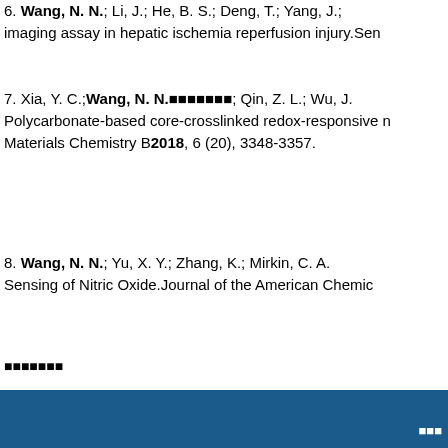6. Wang, N. N.; Li, J.; He, B. S.; Deng, T.; Yang, J.; imaging assay in hepatic ischemia reperfusion injury. Sen
7. Xia, Y. C.; Wang, N. N.■■■■■■■; Qin, Z. L.; Wu, J.; Polycarbonate-based core-crosslinked redox-responsive nanoparticles. Materials Chemistry B 2018, 6 (20), 3348-3357.
8. Wang, N. N.; Yu, X. Y.; Zhang, K.; Mirkin, C. A.; Sensing of Nitric Oxide. Journal of the American Chemical
■■■■■■■
■■■■■■■
■■■